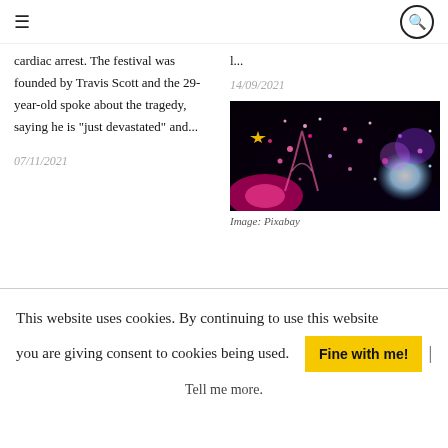≡  🔍
cardiac arrest. The festival was founded by Travis Scott and the 29-year-old spoke about the tragedy, saying he is "just devastated" and...
l...
14/09/2021
[Figure (photo): Colorful festival crowd scene at night with confetti and lights, pink and purple hues]
Image: Pixabay
07/11/2021
This website uses cookies. By continuing to use this website you are giving consent to cookies being used. Fine with me! | Tell me more.